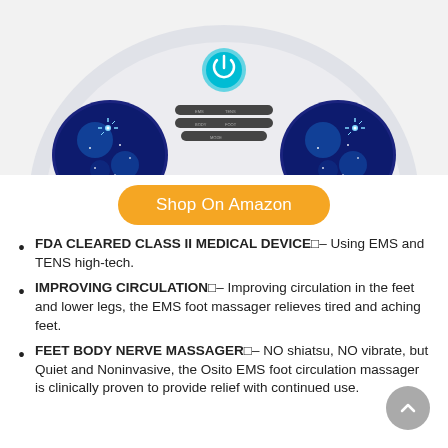[Figure (photo): Top portion of a circular EMS/TENS foot massager device in silver/white with blue galaxy-patterned massage pads and a power button with control buttons visible in the center]
Shop On Amazon
FDA CLEARED CLASS II MEDICAL DEVICE□– Using EMS and TENS high-tech.
IMPROVING CIRCULATION□– Improving circulation in the feet and lower legs, the EMS foot massager relieves tired and aching feet.
FEET BODY NERVE MASSAGER□– NO shiatsu, NO vibrate, but Quiet and Noninvasive, the Osito EMS foot circulation massager is clinically proven to provide relief with continued use.